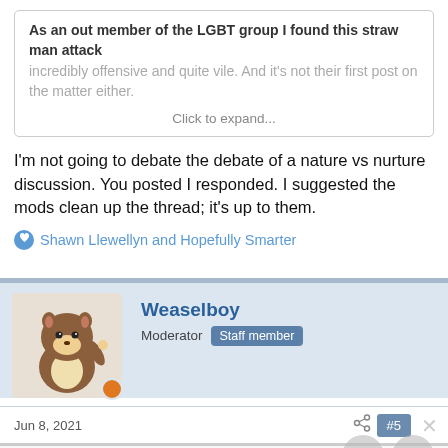As an out member of the LGBT group I found this straw man attack incredibly offensive and quite vile. And it's not their first post on the matter either.

Click to expand...
I'm not going to debate the debate of a nature vs nurture discussion. You posted I responded. I suggested the mods clean up the thread; it's up to them.
Shawn Llewellyn and Hopefully Smarter
Weaselboy
Moderator  Staff member
Jun 8, 2021
#5
TiggrToo said:
I reported the post and have been told that no action needs be...